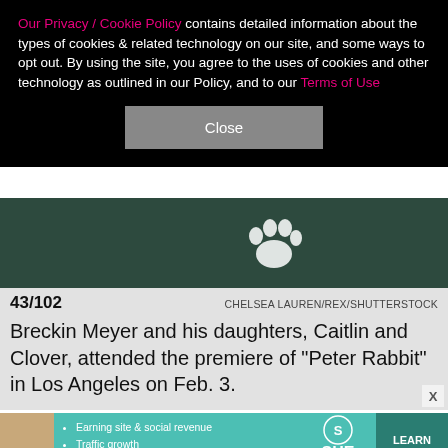Our Privacy / Cookie Policy contains detailed information about the types of cookies & related technology on our site, and some ways to opt out. By using the site, you agree to the uses of cookies and other technology as outlined in our Policy, and to our Terms of Use
[Figure (screenshot): Dark green/teal background with a white paw print icon centered]
43/102      CHELSEA LAUREN/REX/SHUTTERSTOCK
Breckin Meyer and his daughters, Caitlin and Clover, attended the premiere of "Peter Rabbit" in Los Angeles on Feb. 3.
[Figure (photo): Bottom portion of a photograph partially visible]
[Figure (infographic): SHE Partner Network advertisement banner with teal background, woman photo, bullet points: Earning site & social revenue, Traffic growth, Speaking on our stages, and LEARN MORE button]